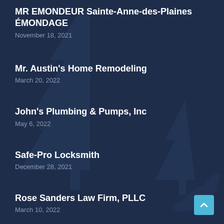MR EMONDEUR Sainte-Anne-des-Plaines ÉMONDAGE
November 18, 2021
Mr. Austin's Home Remodeling
March 20, 2022
John's Plumbing & Pumps, Inc
May 6, 2022
Safe-Pro Locksmith
December 28, 2021
Rose Sanders Law Firm, PLLC
March 10, 2022